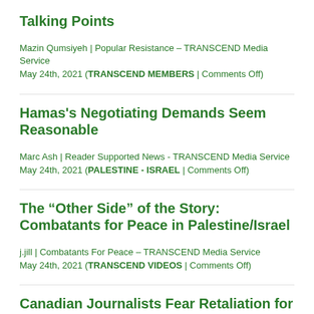Talking Points
Mazin Qumsiyeh | Popular Resistance – TRANSCEND Media Service
May 24th, 2021 (TRANSCEND MEMBERS | Comments Off)
Hamas's Negotiating Demands Seem Reasonable
Marc Ash | Reader Supported News - TRANSCEND Media Service
May 24th, 2021 (PALESTINE - ISRAEL | Comments Off)
The “Other Side” of the Story: Combatants for Peace in Palestine/Israel
j.jill | Combatants For Peace – TRANSCEND Media Service
May 24th, 2021 (TRANSCEND VIDEOS | Comments Off)
Canadian Journalists Fear Retaliation for Criticizing Coverage of Israeli Attacks on Gaza
Akela Lacy | The Intercept - TRANSCEND Media Service
May 24th, 2021 (MEDIA | Comments Off)
Clashes, Scuffles, Conflict – Western Media’s